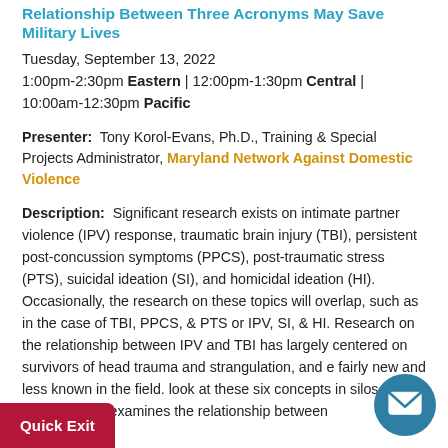Relationship Between Three Acronyms May Save Military Lives
Tuesday, September 13, 2022
1:00pm-2:30pm Eastern | 12:00pm-1:30pm Central | 10:00am-12:30pm Pacific
Presenter: Tony Korol-Evans, Ph.D., Training & Special Projects Administrator, Maryland Network Against Domestic Violence
Description: Significant research exists on intimate partner violence (IPV) response, traumatic brain injury (TBI), persistent post-concussion symptoms (PPCS), post-traumatic stress (PTS), suicidal ideation (SI), and homicidal ideation (HI). Occasionally, the research on these topics will overlap, such as in the case of TBI, PPCS, & PTS or IPV, SI, & HI. Research on the relationship between IPV and TBI has largely centered on survivors of head trauma and strangulation, and e... fairly new and less known in the field. ...look at these six concepts in silos or in small ...is training examines the relationship between